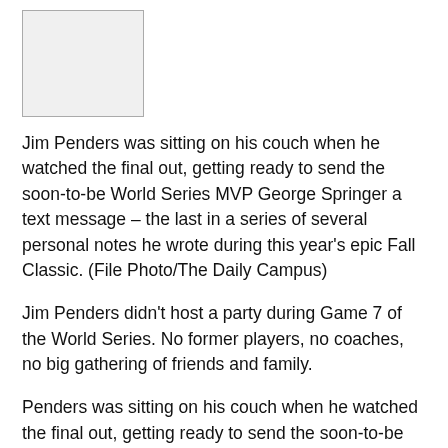[Figure (photo): A blank/white photo placeholder box with a border]
Jim Penders was sitting on his couch when he watched the final out, getting ready to send the soon-to-be World Series MVP George Springer a text message – the last in a series of several personal notes he wrote during this year's epic Fall Classic. (File Photo/The Daily Campus)
Jim Penders didn't host a party during Game 7 of the World Series. No former players, no coaches, no big gathering of friends and family.
Penders was sitting on his couch when he watched the final out, getting ready to send the soon-to-be World Series MVP George Springer a text message – the last in a series of several personal notes he wrote during this year's epic Fall